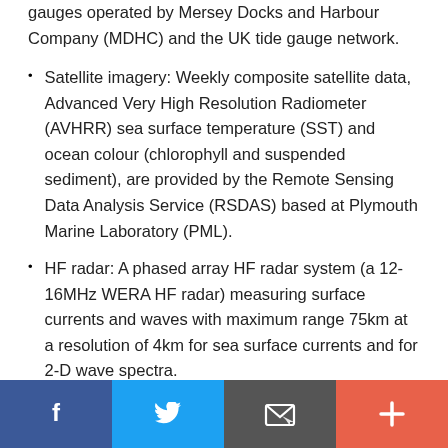gauges operated by Mersey Docks and Harbour Company (MDHC) and the UK tide gauge network.
Satellite imagery: Weekly composite satellite data, Advanced Very High Resolution Radiometer (AVHRR) sea surface temperature (SST) and ocean colour (chlorophyll and suspended sediment), are provided by the Remote Sensing Data Analysis Service (RSDAS) based at Plymouth Marine Laboratory (PML).
HF radar: A phased array HF radar system (a 12-16MHz WERA HF radar) measuring surface currents and waves with maximum range 75km at a resolution of 4km for sea surface currents and for 2-D wave spectra.
Meteorology station: With web camera, located on Hilbre Island at the mouth of the Dee Estuary
Facebook | Twitter | Email | Plus